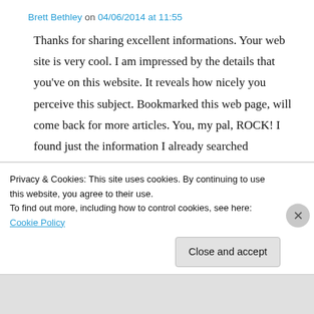Brett Bethley on 04/06/2014 at 11:55
Thanks for sharing excellent informations. Your web site is very cool. I am impressed by the details that you've on this website. It reveals how nicely you perceive this subject. Bookmarked this web page, will come back for more articles. You, my pal, ROCK! I found just the information I already searched everywhere and just couldn't come across. What an ideal website.
Privacy & Cookies: This site uses cookies. By continuing to use this website, you agree to their use. To find out more, including how to control cookies, see here: Cookie Policy
Close and accept